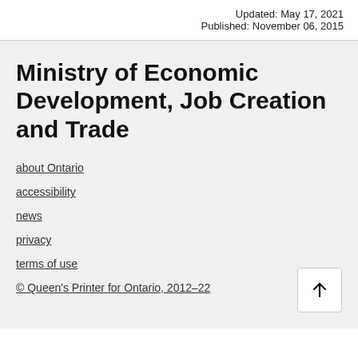Updated: May 17, 2021
Published: November 06, 2015
Ministry of Economic Development, Job Creation and Trade
about Ontario
accessibility
news
privacy
terms of use
© Queen's Printer for Ontario, 2012–22